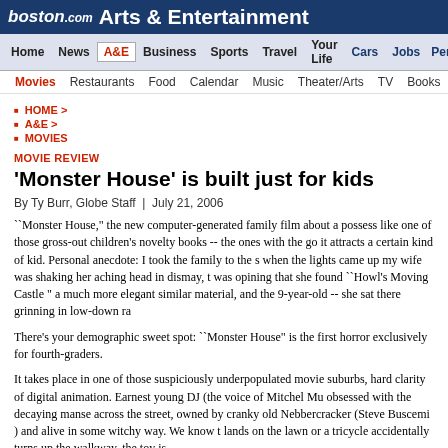boston.com Arts & Entertainment
Home | News | A&E | Business | Sports | Travel | Your Life | Cars | Jobs | Pers
Movies | Restaurants | Food | Calendar | Music | Theater/Arts | TV | Books
HOME >
A&E >
MOVIES
MOVIE REVIEW
'Monster House' is built just for kids
By Ty Burr, Globe Staff  |  July 21, 2006
``Monster House," the new computer-generated family film about a possess like one of those gross-out children's novelty books -- the ones with the go it attracts a certain kind of kid. Personal anecdote: I took the family to the s when the lights came up my wife was shaking her aching head in dismay, t was opining that she found ``Howl's Moving Castle " a much more elegant similar material, and the 9-year-old -- she sat there grinning in low-down ra
There's your demographic sweet spot: ``Monster House" is the first horror exclusively for fourth-graders.
It takes place in one of those suspiciously underpopulated movie suburbs, hard clarity of digital animation. Earnest young DJ (the voice of Mitchel Mu obsessed with the decaying manse across the street, owned by cranky old Nebbercracker (Steve Buscemi ) and alive in some witchy way. We know t lands on the lawn or a tricycle accidentally turns up the walkway, the toy is